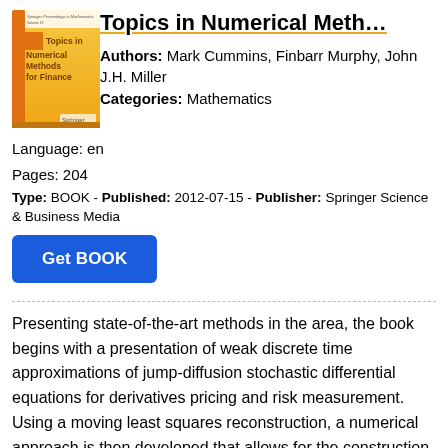[Figure (illustration): Book cover of 'Topics in Numerical Methods for Finance' with orange and yellow background, Springer publisher logo]
Topics in Numerical Meth…
Authors: Mark Cummins, Finbarr Murphy, John J.H. Miller
Categories: Mathematics
Language: en
Pages: 204
Type: BOOK - Published: 2012-07-15 - Publisher: Springer Science & Business Media
Get BOOK
Presenting state-of-the-art methods in the area, the book begins with a presentation of weak discrete time approximations of jump-diffusion stochastic differential equations for derivatives pricing and risk measurement. Using a moving least squares reconstruction, a numerical approach is then developed that allows for the construction of